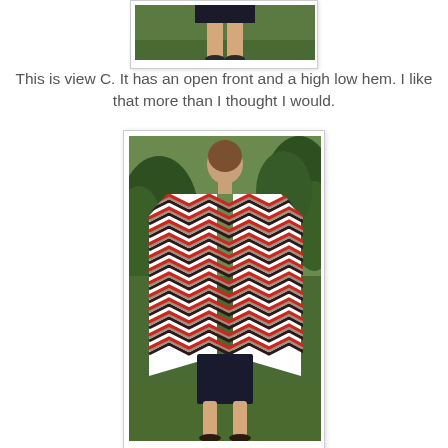[Figure (photo): Partial photo showing a person's legs from below, wearing a dark skirt, standing outdoors on grass — top portion cropped]
This is view C. It has an open front and a high low hem. I like that more than I thought I would.
[Figure (photo): Back view of a woman wearing a colorful red, white, and dark chevron/zigzag patterned open-front cardigan over a dark mini skirt, standing outdoors in a garden with green bushes]